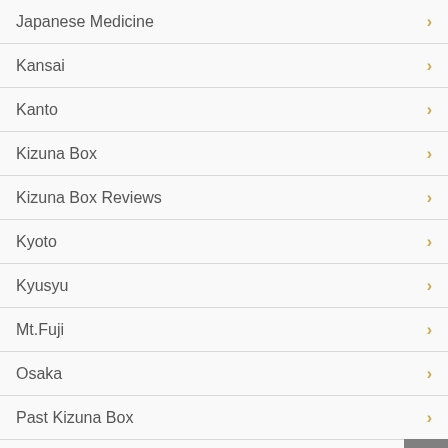Japanese Medicine
Kansai
Kanto
Kizuna Box
Kizuna Box Reviews
Kyoto
Kyusyu
Mt.Fuji
Osaka
Past Kizuna Box
Shopping